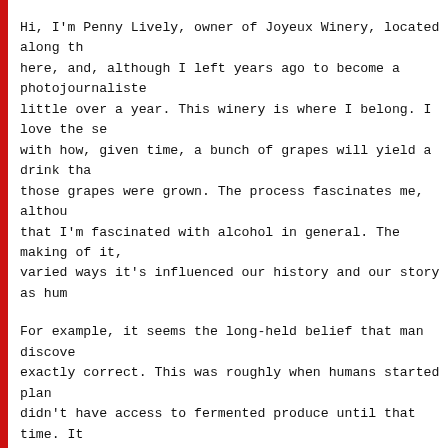Hi, I'm Penny Lively, owner of Joyeux Winery, located along the here, and, although I left years ago to become a photojournalist, little over a year. This winery is where I belong. I love the sense with how, given time, a bunch of grapes will yield a drink that those grapes were grown. The process fascinates me, although that I'm fascinated with alcohol in general. The making of it, varied ways it's influenced our history and our story as humans.
For example, it seems the long-held belief that man discovered exactly correct. This was roughly when humans started planting didn't have access to fermented produce until that time. It earlier, nearly ten million years earlier. Yes, that's right, ten
This ten million year milestone is an important date for humans first climbed out of the trees and started walking ability to wander, looking for food over a broader area. This clearly broadened our food sources. More food and a wider direction, so to speak.